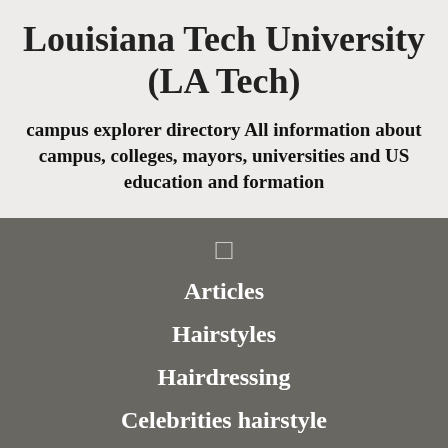Louisiana Tech University (LA Tech)
campus explorer directory All information about campus, colleges, mayors, universities and US education and formation
Articles
Hairstyles
Hairdressing
Celebrities hairstyle